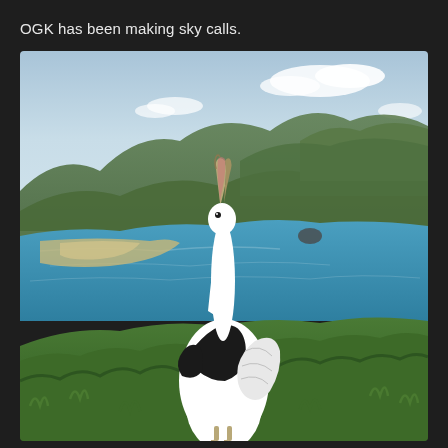OGK has been making sky calls.
[Figure (photo): A white seabird (albatross) standing on green grass with its beak pointed skyward in a sky-calling display posture. The bird has black markings on its back/wings and a long pale bill. Behind it is a scenic coastal landscape with blue water, a sandy beach spit, and rolling green hills/mountains under a partly cloudy sky.]